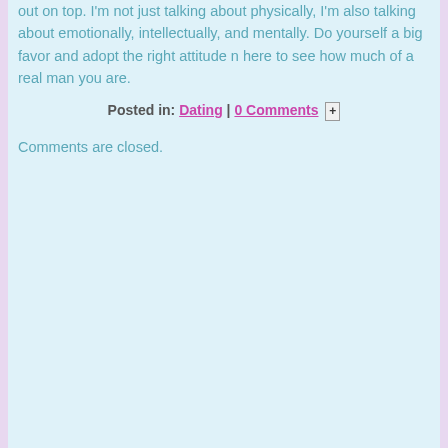out on top. I'm not just talking about physically, I'm also talking about emotionally, intellectually, and mentally. Do yourself a big favor and adopt the right attitude needed here to see how much of a real man you are.
Posted in: Dating | 0 Comments +
Comments are closed.